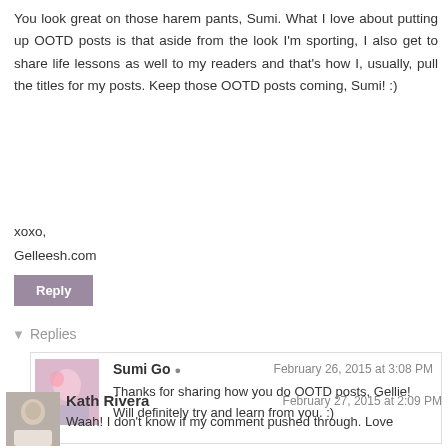You look great on those harem pants, Sumi. What I love about putting up OOTD posts is that aside from the look I'm sporting, I also get to share life lessons as well to my readers and that's how I, usually, pull the titles for my posts. Keep those OOTD posts coming, Sumi! :)
xoxo,
Gelleesh.com
Reply
Replies
Sumi Go
February 26, 2015 at 3:08 PM
Thanks for sharing how you do OOTD posts, Gellie! Will definitely try and learn from you. :)
Reply
Kath Rivera
February 27, 2015 at 2:09 PM
Waah! I don't know if my comment pushed through. Love